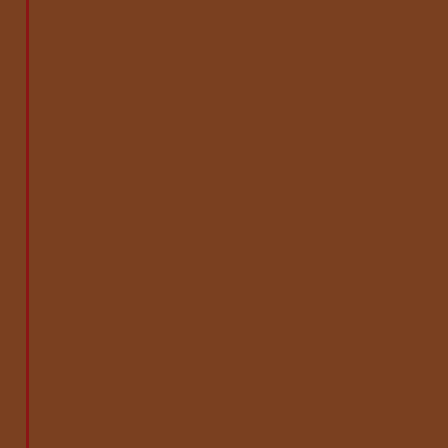[Figure (other): Brown decorative sidebar panel with dark red border lines on left side of page]
So when a fugitive drops into his straw - until Gray realises that ru release. All he has to do is break and avoid killing himself with his o
In theory, it's simple enough. Bu something with the power to chan
Now Gray must find a way to prot even his soul . . .
[Figure (screenshot): Social sharing buttons: Tweet (blue Twitter button) and Share (red Google+ button)]
Posted by Blodeuedd at
Labels: breanna teintze
TUESDAY, 23 JULY